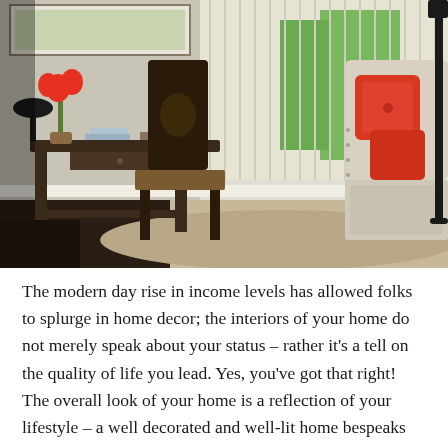[Figure (photo): Interior room photo showing a dark wood writing desk with red tulips in a vase, a dark wooden chair, vertical window blinds letting in light, and a cream upholstered armchair with orange/red throw pillows and nail-head trim. The room has a neutral carpet and hardwood floor area.]
The modern day rise in income levels has allowed folks to splurge in home decor; the interiors of your home do not merely speak about your status – rather it's a tell on the quality of life you lead. Yes, you've got that right! The overall look of your home is a reflection of your lifestyle – a well decorated and well-lit home bespeaks positive vibes within its